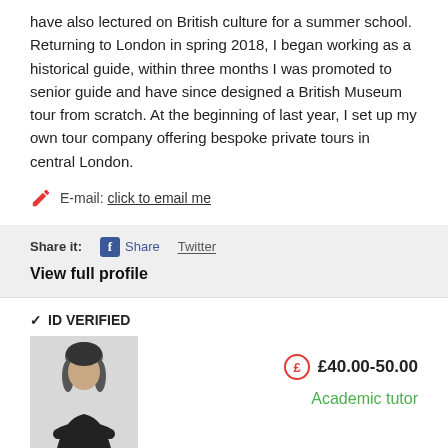have also lectured on British culture for a summer school. Returning to London in spring 2018, I began working as a historical guide, within three months I was promoted to senior guide and have since designed a British Museum tour from scratch. At the beginning of last year, I set up my own tour company offering bespoke private tours in central London.
E-mail: click to email me
Share it: Share Twitter
View full profile
✓ ID VERIFIED
[Figure (photo): Profile photo of a young woman with dark hair wearing a black outfit, arms crossed]
£40.00-50.00
Academic tutor